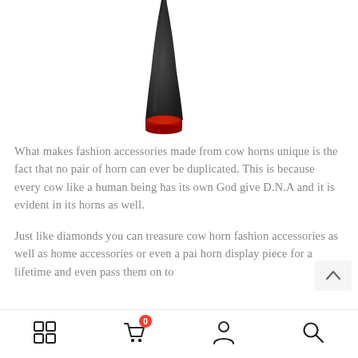[Figure (photo): Close-up photo of a black cow horn with a red leather base/collar at the bottom, on a white background. Only the lower portion of the horn is visible.]
What makes fashion accessories made from cow horns unique is the fact that no pair of horn can ever be duplicated. This is because every cow like a human being has its own God give D.N.A and it is evident in its horns as well.
Just like diamonds you can treasure cow horn fashion accessories as well as home accessories or even a pair horn display piece for a lifetime and even pass them on to
Grid icon | Cart (0) | Account | Search